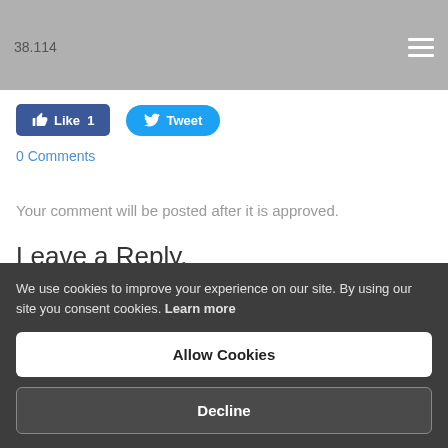38.114
[Figure (screenshot): Facebook Like button with count 1 and Twitter Tweet button]
0 Comments
Your comment will be posted after it is approved.
Leave a Reply.
We use cookies to improve your experience on our site. By using our site you consent cookies. Learn more
Allow Cookies
Decline